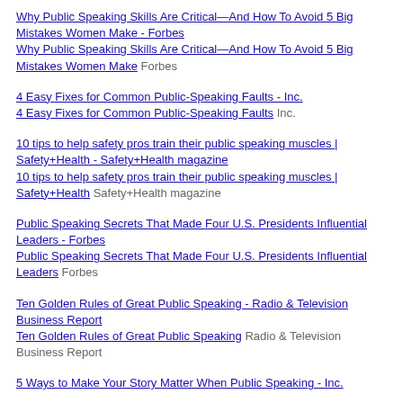Why Public Speaking Skills Are Critical—And How To Avoid 5 Big Mistakes Women Make - Forbes
Why Public Speaking Skills Are Critical—And How To Avoid 5 Big Mistakes Women Make  Forbes
4 Easy Fixes for Common Public-Speaking Faults - Inc.
4 Easy Fixes for Common Public-Speaking Faults  Inc.
10 tips to help safety pros train their public speaking muscles | Safety+Health - Safety+Health magazine
10 tips to help safety pros train their public speaking muscles | Safety+Health  Safety+Health magazine
Public Speaking Secrets That Made Four U.S. Presidents Influential Leaders - Forbes
Public Speaking Secrets That Made Four U.S. Presidents Influential Leaders  Forbes
Ten Golden Rules of Great Public Speaking - Radio & Television Business Report
Ten Golden Rules of Great Public Speaking  Radio & Television Business Report
5 Ways to Make Your Story Matter When Public Speaking - Inc.